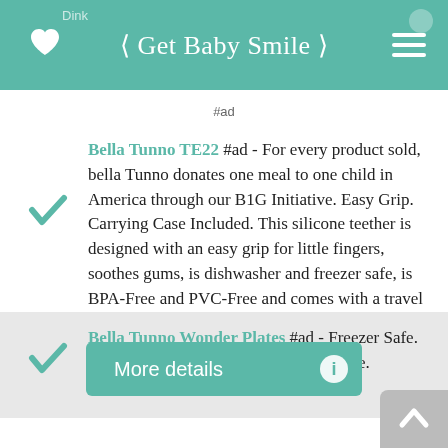< Get Baby Smile >
#ad
Bella Tunno TE22 #ad - For every product sold, bella Tunno donates one meal to one child in America through our B1G Initiative. Easy Grip. Carrying Case Included. This silicone teether is designed with an easy grip for little fingers, soothes gums, is dishwasher and freezer safe, is BPA-Free and PVC-Free and comes with a travel case.
Bella Tunno Wonder Plates #ad - Freezer Safe. Dishwasher Safe. Pvc-free and BPA-free.
More details